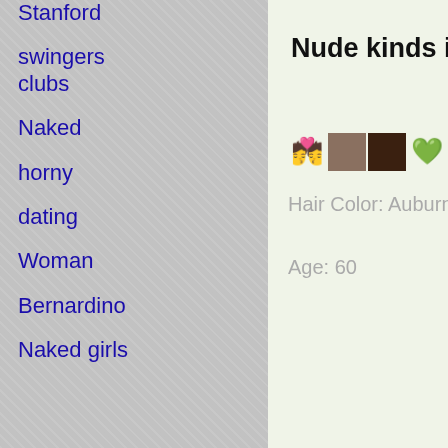Stanford
swingers clubs
Naked horny dating
Woman
Bernardino
Naked girls
Nude kinds in New Glarus WI interested to fuck.
[Figure (other): Row of emoji and thumbnail images: ring emoji, person photo thumbnail, dark wood photo thumbnail, green heart emoji]
Hair Color: Auburn
Age: 60
[Figure (other): Row of emoji and thumbnail images: ring emoji, person photo thumbnail, dark wood photo thumbnail, green heart emoji (right column)]
Hair Co
Blonde
Age: 43
Name:
MerylN